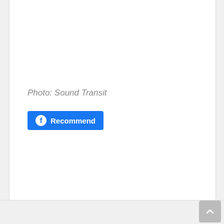Photo: Sound Transit
[Figure (other): Facebook Recommend button (blue button with Facebook logo icon and text 'Recommend')]